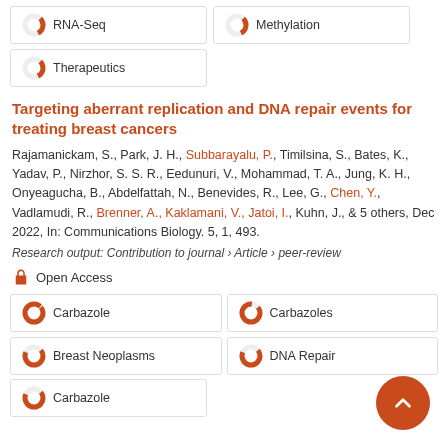[Figure (donut-chart): Donut chart icon ~30% fill, labeled RNA-Seq]
[Figure (donut-chart): Donut chart icon ~30% fill, labeled Methylation]
[Figure (donut-chart): Donut chart icon ~30% fill, labeled Therapeutics]
Targeting aberrant replication and DNA repair events for treating breast cancers
Rajamanickam, S., Park, J. H., Subbarayalu, P., Timilsina, S., Bates, K., Yadav, P., Nirzhor, S. S. R., Eedunuri, V., Mohammad, T. A., Jung, K. H., Onyeagucha, B., Abdelfattah, N., Benevides, R., Lee, G., Chen, Y., Vadlamudi, R., Brenner, A., Kaklamani, V., Jatoi, I., Kuhn, J., & 5 others, Dec 2022, In: Communications Biology. 5, 1, 493.
Research output: Contribution to journal › Article › peer-review
Open Access
[Figure (donut-chart): Donut chart icon ~100% fill orange, labeled Carbazole]
[Figure (donut-chart): Donut chart icon ~90% fill orange, labeled Carbazoles]
[Figure (donut-chart): Donut chart icon ~70% fill orange, labeled Breast Neoplasms]
[Figure (donut-chart): Donut chart icon ~70% fill orange, labeled DNA Repair]
[Figure (donut-chart): Donut chart icon ~70% fill orange, labeled Carbazole]